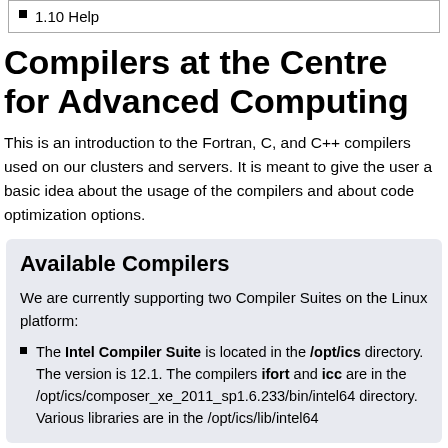1.10 Help
Compilers at the Centre for Advanced Computing
This is an introduction to the Fortran, C, and C++ compilers used on our clusters and servers. It is meant to give the user a basic idea about the usage of the compilers and about code optimization options.
Available Compilers
We are currently supporting two Compiler Suites on the Linux platform:
The Intel Compiler Suite is located in the /opt/ics directory. The version is 12.1. The compilers ifort and icc are in the /opt/ics/composer_xe_2011_sp1.6.233/bin/intel64 directory. Various libraries are in the /opt/ics/lib/intel64